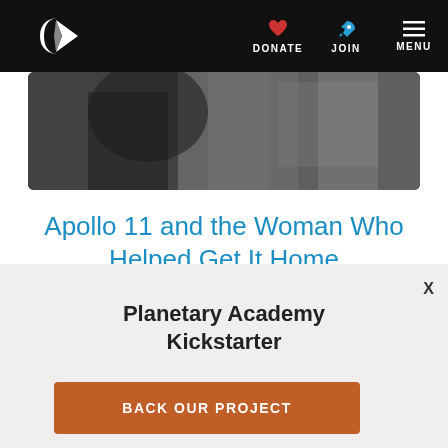Planetary Society navigation bar with logo, DONATE, JOIN, MENU
[Figure (photo): Black and white close-up photograph, partially visible, showing dark clothing/equipment]
Apollo 11 and the Woman Who Helped Get It Home
Poppy Northcutt was a pioneer—the first
Planetary Academy Kickstarter
BACK OUR PROJECT